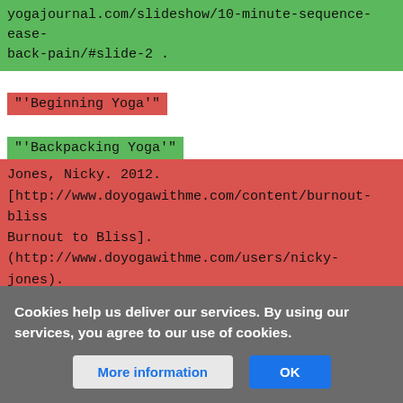yogajournal.com/slideshow/10-minute-sequence-ease-back-pain/#slide-2 .
"'Beginning Yoga'"
"'Backpacking Yoga'"
Jones, Nicky. 2012. [http://www.doyogawithme.com/content/burnout-bliss Burnout to Bliss]. (http://www.doyogawithme.com/users/nicky-jones). Victoria, BC: doyogawithme.com/content/burnout-bliss.
Anonymous user
203.90.235.7
Cookies help us deliver our services. By using our services, you agree to our use of cookies.
More information
OK